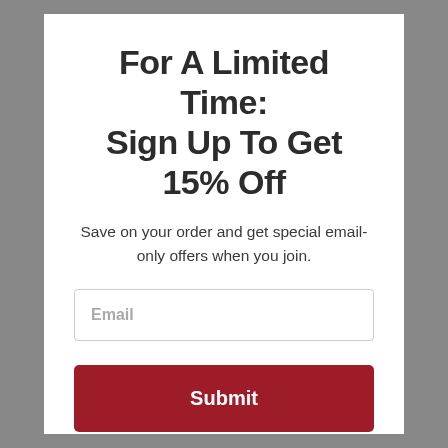For A Limited Time: Sign Up To Get 15% Off
Save on your order and get special email-only offers when you join.
[Figure (other): Email input field with placeholder text 'Email']
[Figure (other): Submit button with dark red background and white text 'Submit']